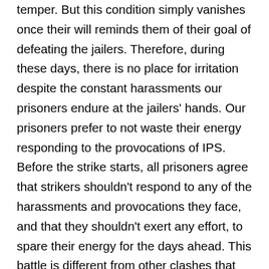temper. But this condition simply vanishes once their will reminds them of their goal of defeating the jailers. Therefore, during these days, there is no place for irritation despite the constant harassments our prisoners endure at the jailers' hands. Our prisoners prefer to not waste their energy responding to the provocations of IPS. Before the strike starts, all prisoners agree that strikers shouldn't respond to any of the harassments and provocations they face, and that they shouldn't exert any effort, to spare their energy for the days ahead. This battle is different from other clashes that happen on normal days between jailers and detainees. When there is no hunger strike, it's not allowed to any detainee to accept insults, and if one is humiliated by a jailer and doesn't reclaim his rights immediately, he faces punishment by the national committee inside the prisons.